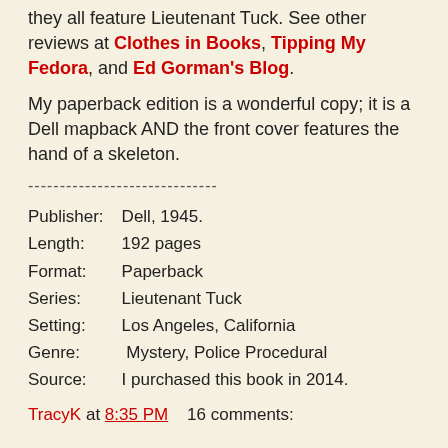they all feature Lieutenant Tuck. See other reviews at Clothes in Books, Tipping My Fedora, and Ed Gorman's Blog.
My paperback edition is a wonderful copy; it is a Dell mapback AND the front cover features the hand of a skeleton.
------------------------------
Publisher: Dell, 1945.
Length: 192 pages
Format: Paperback
Series: Lieutenant Tuck
Setting: Los Angeles, California
Genre: Mystery, Police Procedural
Source: I purchased this book in 2014.
TracyK at 8:35 PM    16 comments: